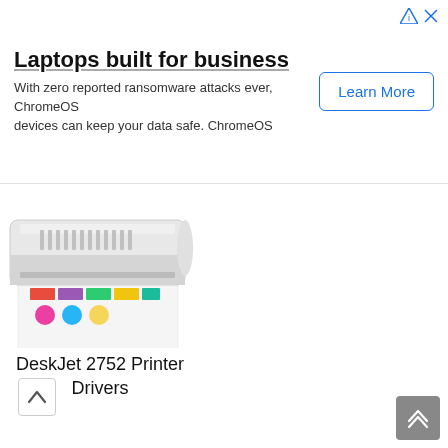[Figure (screenshot): Advertisement banner: Laptops built for business - ChromeOS ad with Learn More button and ad icons]
Laptops built for business
With zero reported ransomware attacks ever, ChromeOS devices can keep your data safe. ChromeOS
[Figure (photo): HP inkjet printer from above printing a color test page with colored bars and circles, shown from top angle]
DeskJet 2752 Printer Drivers
[Figure (photo): HP DeskJet 2752 printer from front angle, printing a photo of a person, white and blue printer body]